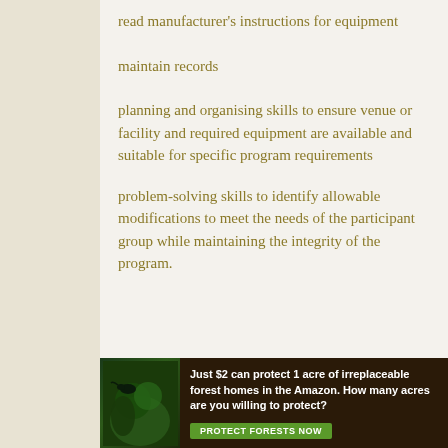read manufacturer's instructions for equipment
maintain records
planning and organising skills to ensure venue or facility and required equipment are available and suitable for specific program requirements
problem-solving skills to identify allowable modifications to meet the needs of the participant group while maintaining the integrity of the program.
Required knowledge
the purpose, aims and target group of the approved
[Figure (other): Advertisement banner: 'Just $2 can protect 1 acre of irreplaceable forest homes in the Amazon. How many acres are you willing to protect?' with a Protect Forests Now button and forest imagery.]